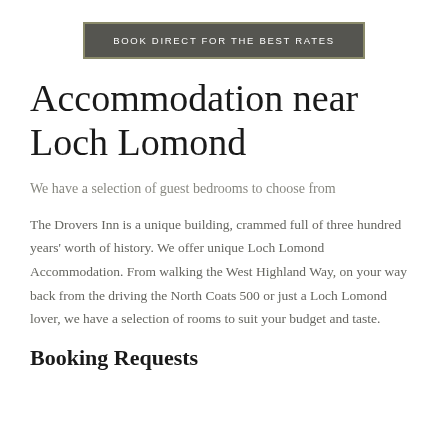BOOK DIRECT FOR THE BEST RATES
Accommodation near Loch Lomond
We have a selection of guest bedrooms to choose from
The Drovers Inn is a unique building, crammed full of three hundred years' worth of history. We offer unique Loch Lomond Accommodation. From walking the West Highland Way, on your way back from the driving the North Coats 500 or just a Loch Lomond lover, we have a selection of rooms to suit your budget and taste.
Booking Requests